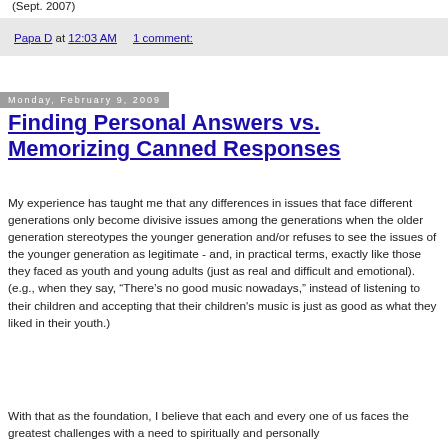(Sept. 2007)
Papa D at 12:03 AM    1 comment:
Monday, February 9, 2009
Finding Personal Answers vs. Memorizing Canned Responses
My experience has taught me that any differences in issues that face different generations only become divisive issues among the generations when the older generation stereotypes the younger generation and/or refuses to see the issues of the younger generation as legitimate - and, in practical terms, exactly like those they faced as youth and young adults (just as real and difficult and emotional). (e.g., when they say, “There’s no good music nowadays,” instead of listening to their children and accepting that their children's music is just as good as what they liked in their youth.)
With that as the foundation, I believe that each and every one of us faces the greatest challenges with a need to spiritually and personally ...